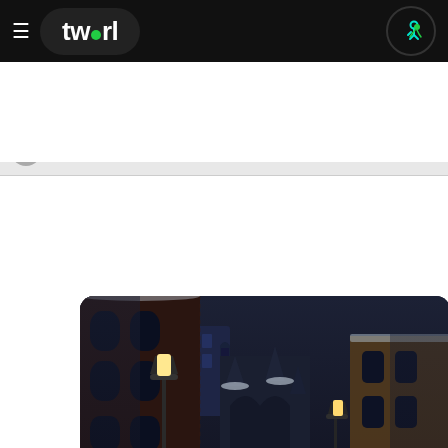tw▾rl — navigation bar
...umurai #batman #v #thowbac...
[Figure (screenshot): Dark animated city alley scene at night with gothic architecture, street lamps, snow, resembling a Batman animated scene. Overlay dropdowns show 'media' and '#all' filter options.]